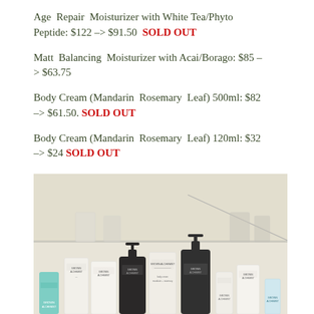Age Repair Moisturizer with White Tea/Phyto Peptide: $122 -> $91.50  SOLD OUT
Matt Balancing Moisturizer with Acai/Borago: $85 -> $63.75
Body Cream (Mandarin Rosemary Leaf) 500ml: $82 -> $61.50. SOLD OUT
Body Cream (Mandarin Rosemary Leaf) 120ml: $32 -> $24 SOLD OUT
[Figure (photo): Photo of multiple Grown Alchemist skincare products displayed on a shelf or counter, including tubes, bottles with pumps, and a teal tube, arranged in a bathroom-style setting.]